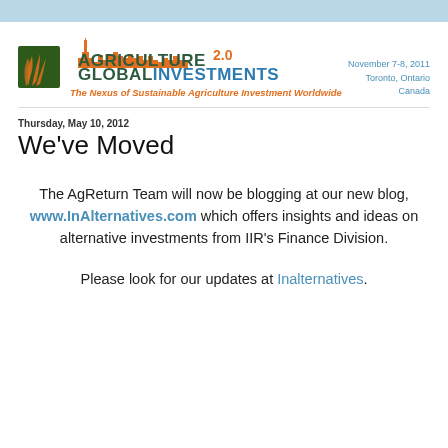[Figure (logo): Agriculture Global Investments 2.0 logo with Toronto skyline silhouette in orange, green square icon with wheat graphic, and tagline 'The Nexus of Sustainable Agriculture Investment Worldwide' in orange italic. Event info: November 7-8, 2011, Toronto, Ontario, Canada in blue text.]
Thursday, May 10, 2012
We've Moved
The AgReturn Team will now be blogging at our new blog, www.InAlternatives.com which offers insights and ideas on alternative investments from IIR's Finance Division.
Please look for our updates at Inalternatives.